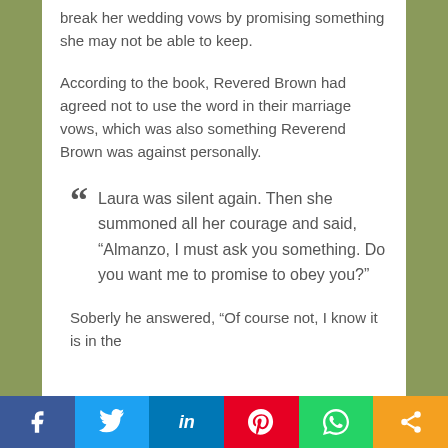break her wedding vows by promising something she may not be able to keep.
According to the book, Revered Brown had agreed not to use the word in their marriage vows, which was also something Reverend Brown was against personally.
" Laura was silent again. Then she summoned all her courage and said, “Almanzo, I must ask you something. Do you want me to promise to obey you?”
Soberly he answered, “Of course not, I know it is in the
[Figure (other): Social sharing bar with Facebook, Twitter, LinkedIn, Pinterest, WhatsApp, and share icons]